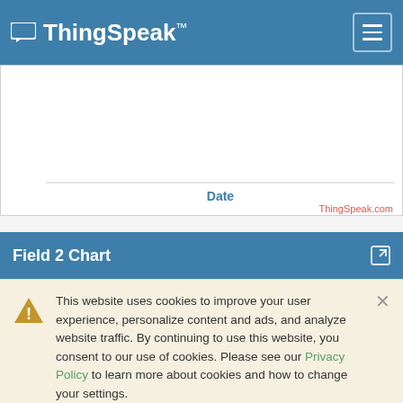ThingSpeak™
[Figure (continuous-plot): Partial chart area showing y-axis label μg/m³ (rotated), x-axis label 'Date', and a ThingSpeak.com watermark. The chart plot area is mostly empty/white.]
Field 2 Chart
This website uses cookies to improve your user experience, personalize content and ads, and analyze website traffic. By continuing to use this website, you consent to our use of cookies. Please see our Privacy Policy to learn more about cookies and how to change your settings.